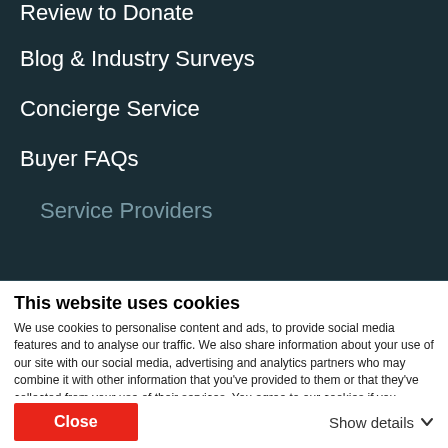Review to Donate
Blog & Industry Surveys
Concierge Service
Buyer FAQs
Service Providers
This website uses cookies
We use cookies to personalise content and ads, to provide social media features and to analyse our traffic. We also share information about your use of our site with our social media, advertising and analytics partners who may combine it with other information that you've provided to them or that they've collected from your use of their services. You agree to our cookies if you continue to use our website.
Close
Show details